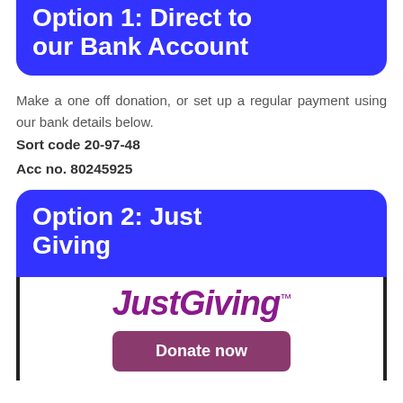Option 1: Direct to our Bank Account
Make a one off donation, or set up a regular payment using our bank details below.
Sort code 20-97-48
Acc no. 80245925
Option 2: Just Giving
[Figure (logo): JustGiving logo and Donate now button]